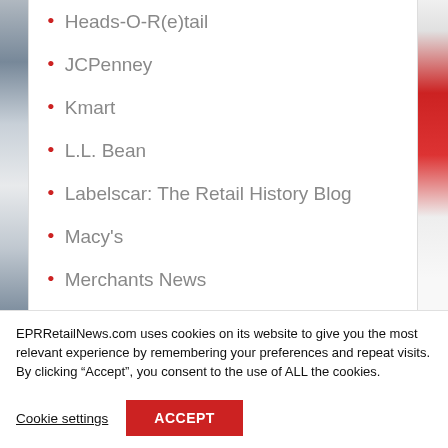Heads-O-R(e)tail
JCPenney
Kmart
L.L. Bean
Labelscar: The Retail History Blog
Macy's
Merchants News
Mighty Goods Shopping Blog
EPRRetailNews.com uses cookies on its website to give you the most relevant experience by remembering your preferences and repeat visits. By clicking “Accept”, you consent to the use of ALL the cookies.
Cookie settings
ACCEPT